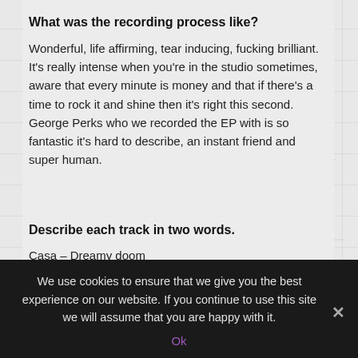What was the recording process like?
Wonderful, life affirming, tear inducing, fucking brilliant. It’s really intense when you’re in the studio sometimes, aware that every minute is money and that if there’s a time to rock it and shine then it’s right this second. George Perks who we recorded the EP with is so fantastic it’s hard to describe, an instant friend and super human.
Describe each track in two words.
Casa – Dreamy doom
We use cookies to ensure that we give you the best experience on our website. If you continue to use this site we will assume that you are happy with it.
Ok